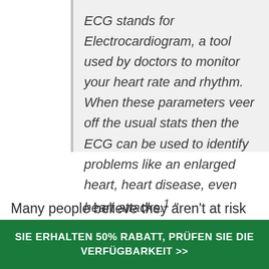ECG stands for Electrocardiogram, a tool used by doctors to monitor your heart rate and rhythm. When these parameters veer off the usual stats then the ECG can be used to identify problems like an enlarged heart, heart disease, even heart attacks.¹ " – WebMD.com
Many people believe they aren't at risk of these issues, but that's not true.
SIE ERHALTEN 50% RABATT, PRÜFEN SIE DIE VERFÜGBARKEIT >>